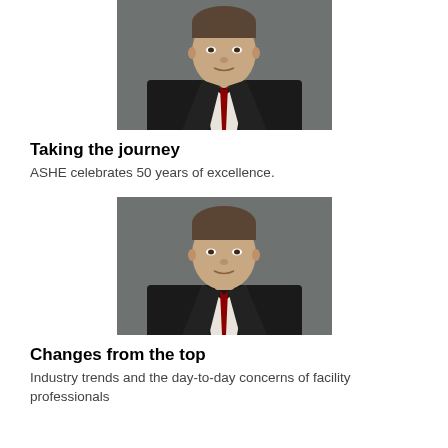[Figure (photo): Professional headshot of a man in a dark suit with a white shirt and dark tie, gray background]
Taking the journey
ASHE celebrates 50 years of excellence.
[Figure (photo): Professional headshot of the same man in a dark suit with a white shirt and dark tie, gray background]
Changes from the top
Industry trends and the day-to-day concerns of facility professionals